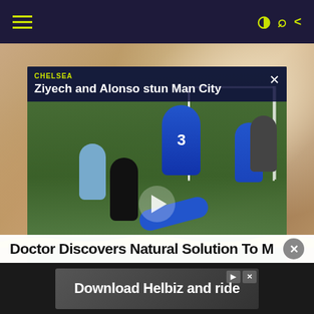Navigation header bar with hamburger menu and icons
[Figure (screenshot): Video popup player showing a soccer/football match with title 'Ziyech and Alonso stun Man City', Chelsea label, close button, and play button over a match scene]
[Figure (photo): Blurred close-up background photo of a person's face (lower half visible)]
Doctor Discovers Natural Solution To M
[Figure (screenshot): Advertisement banner: 'Download Helbiz and ride' with ad controls]